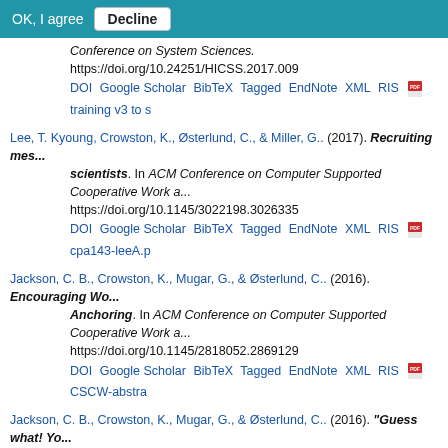OK, I agree  Decline
Conference on System Sciences. https://doi.org/10.24251/HICSS.2017.009
DOI Google Scholar BibTeX Tagged EndNote XML RIS [pdf] training v3 to s
Lee, T. Kyoung, Crowston, K., Østerlund, C., & Miller, G.. (2017). Recruiting mes... scientists. In ACM Conference on Computer Supported Cooperative Work a... https://doi.org/10.1145/3022198.3026335
DOI Google Scholar BibTeX Tagged EndNote XML RIS [pdf] cpa143-leeA.p
Jackson, C. B., Crowston, K., Mugar, G., & Østerlund, C.. (2016). Encouraging Wo... Anchoring. In ACM Conference on Computer Supported Cooperative Work a... https://doi.org/10.1145/2818052.2869129
DOI Google Scholar BibTeX Tagged EndNote XML RIS [pdf] CSCW-abstra
Jackson, C. B., Crowston, K., Mugar, G., & Østerlund, C.. (2016). "Guess what! Yo... Contribution to Online Production Communities. In ACM Group. https://do...
DOI Google Scholar BibTeX Tagged EndNote XML RIS
Østerlund, C., Crowston, K., & Jackson, C.. (2016). The Hermeneutics of Trace D... Working Conference.
Google Scholar BibTeX Tagged EndNote XML RIS [pdf] Crowston_Osterlund_Jackson_Mugar_The_Hermeneutics_of_Trace_Data_IFIP8.2
Jackson, C. B., Østerlund, C., Maidel, V., Crowston, K., & Mugar, G.. (2016). Which... Zooniverse. In 19th ACM Conference on Computer Supported Cooperativa...